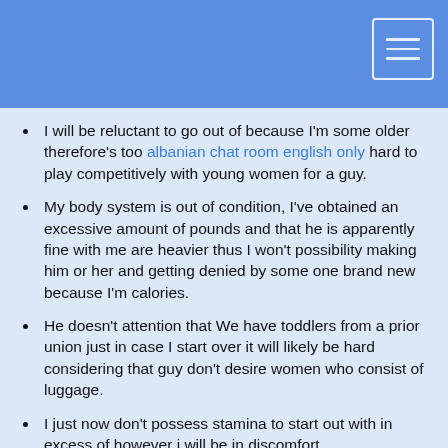I will be reluctant to go out of because I'm some older therefore's too albanian chat room english only hard to play competitively with young women for a guy.
My body system is out of condition, I've obtained an excessive amount of pounds and that he is apparently fine with me are heavier thus I won't possibility making him or her and getting denied by some one brand new because I'm calories.
He doesn't attention that We have toddlers from a prior union just in case I start over it will likely be hard considering that guy don't desire women who consist of luggage.
I just now don't possess stamina to start out with in excess of however i will be in discomfort.
I'm unhappy but i will be at ease with the case.
They aren't the things I expected but I needed lodging and that he saved me. If I create to get caught once again , what is going to I do? In case you have move around in due to this people since your rent would be all the way up, that's a poor sign. Interaction shouldn't